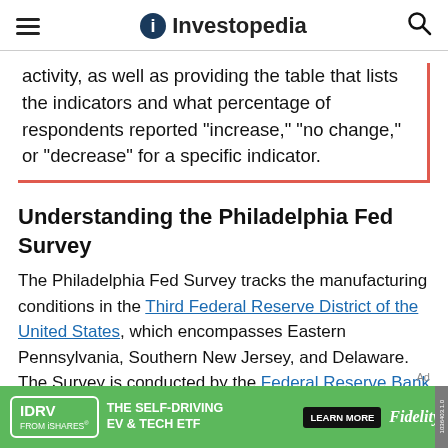Investopedia
activity, as well as providing the table that lists the indicators and what percentage of respondents reported "increase," "no change," or "decrease" for a specific indicator.
Understanding the Philadelphia Fed Survey
The Philadelphia Fed Survey tracks the manufacturing conditions in the Third Federal Reserve District of the United States, which encompasses Eastern Pennsylvania, Southern New Jersey, and Delaware. The Survey is conducted by the Federal Reserve Bank of Philadelphia.[1]
[Figure (other): Advertisement banner: IDRV FROM iSHARES. THE SELF-DRIVING EV & TECH ETF. LEARN MORE. Fidelity.]